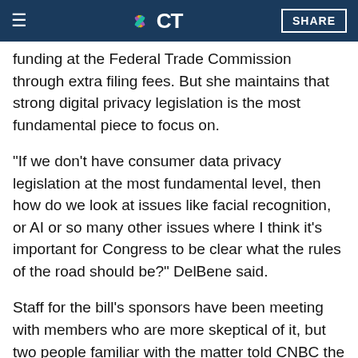NBC CT — SHARE
funding at the Federal Trade Commission through extra filing fees. But she maintains that strong digital privacy legislation is the most fundamental piece to focus on.
"If we don't have consumer data privacy legislation at the most fundamental level, then how do we look at issues like facial recognition, or AI or so many other issues where I think it's important for Congress to be clear what the rules of the road should be?" DelBene said.
Staff for the bill's sponsors have been meeting with members who are more skeptical of it, but two people familiar with the matter told CNBC the skeptics are dissatisfied with the engagement.
One Democratic aide described a conversation with a bill sponsor...